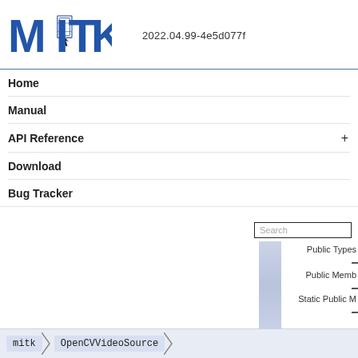[Figure (logo): MITK logo with blue letters M, I (with gem icon), T, K and version number 2022.04.99-4e5d077f]
2022.04.99-4e5d077f
Home
Manual
API Reference +
Download
Bug Tracker
Search
Public Types
Public Memb
Static Public M
mitk > OpenCVVideoSource >